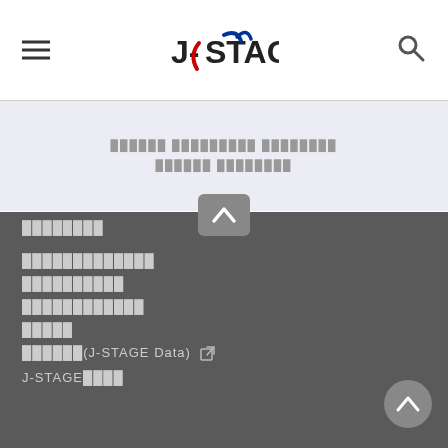J-STAGE
[Figure (screenshot): J-STAGE website header with hamburger menu icon on left, J-STAGE logo in center, and search icon on right]
██████ █████████ ████████ ██████ ████████
████████
█████████████
██████████
████████████
█████
██████(J-STAGE Data) ☑
J-STAGE████